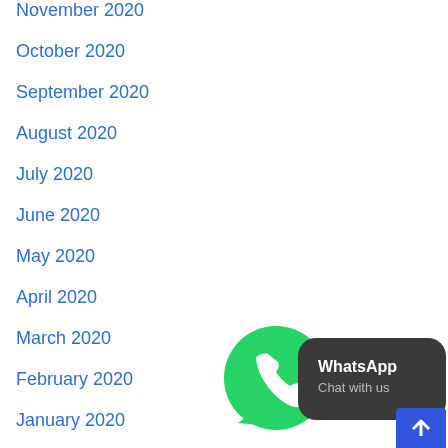November 2020
October 2020
September 2020
August 2020
July 2020
June 2020
May 2020
April 2020
March 2020
February 2020
January 2020
[Figure (screenshot): WhatsApp Chat with us widget button in bottom right corner]